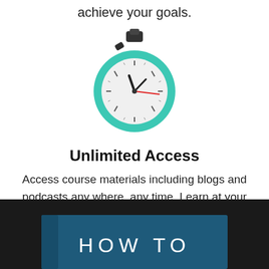achieve your goals.
[Figure (illustration): Stopwatch icon with teal/green circular body, white clock face with tick marks, black hour and minute hands, red second hand, dark crown at top]
Unlimited Access
Access course materials including blogs and podcasts any where, any time. Learn at your own pace and convenience.
[Figure (illustration): Dark background section with a teal/dark blue book banner at the bottom showing 'HOW TO' text in white letters]